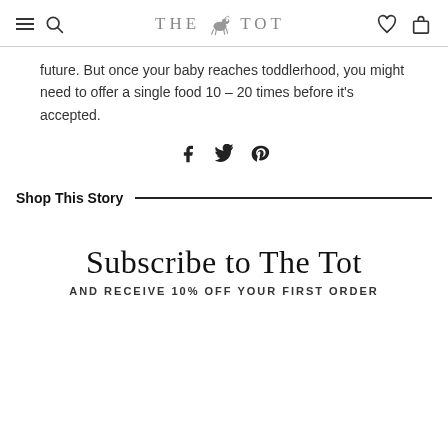THE TOT
future. But once your baby reaches toddlerhood, you might need to offer a single food 10 – 20 times before it's accepted.
[Figure (other): Social sharing icons: Facebook, Twitter, Pinterest]
Shop This Story
Subscribe to The Tot
AND RECEIVE 10% OFF YOUR FIRST ORDER